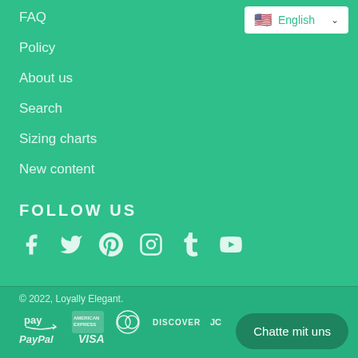[Figure (screenshot): Language selector dropdown showing English with US flag]
FAQ
Policy
About us
Search
Sizing charts
New content
FOLLOW US
[Figure (infographic): Social media icons: Facebook, Twitter, Pinterest, Instagram, Tumblr, YouTube]
© 2022, Loyally Elegant.
[Figure (infographic): Payment method icons: Amazon Pay, American Express, Diners Club, Discover, JCB, PayPal, Visa]
Chatte mit uns